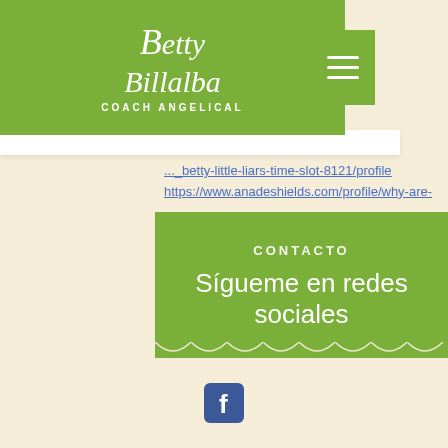[Figure (logo): Betty Billalba Coach Angelical logo — white script text on green background with a heart motif]
https://www.anadeshields.com/profile/betty-little-liars-time-slot-8121/profile
https://www.anadeshields.com/profile/why-are-my-memory-slots-different-colors-6861/profile
https://www.biscuitatelier.com/profile/maximaal-aantal-spelers-texas-holdem-1289/profile
https://www.tocsfederation.com/profile/poker-texas-3d-free-download-4083/profile
CONTACTO
Sígueme en redes sociales
[Figure (logo): Facebook icon — blue square with white 'f' letter]